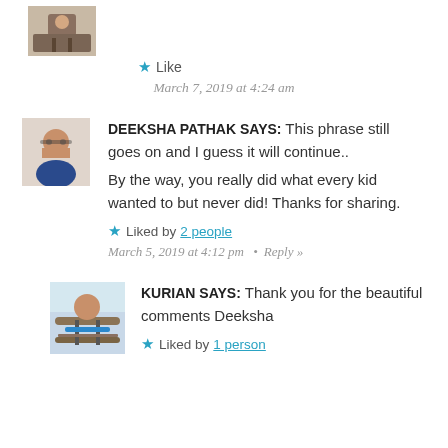[Figure (photo): Small avatar thumbnail of a person sitting at a desk, top of page]
★ Like
March 7, 2019 at 4:24 am
[Figure (photo): Avatar photo of Deeksha Pathak, a woman with glasses]
DEEKSHA PATHAK SAYS: This phrase still goes on and I guess it will continue.. By the way, you really did what every kid wanted to but never did! Thanks for sharing.
★ Liked by 2 people
March 5, 2019 at 4:12 pm • Reply »
[Figure (photo): Avatar photo of Kurian, a person sitting in a rocking chair on a balcony]
KURIAN SAYS: Thank you for the beautiful comments Deeksha
★ Liked by 1 person